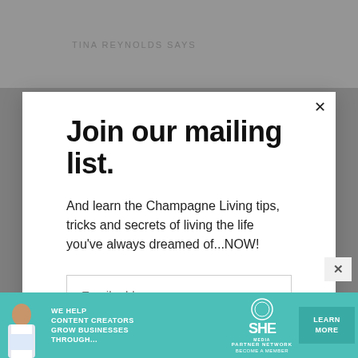TINA REYNOLDS SAYS
Join our mailing list.
And learn the Champagne Living tips, tricks and secrets of living the life you've always dreamed of...NOW!
Email address
Subscribe
[Figure (infographic): SHE Media Partner Network advertisement banner with teal background. Shows a woman, text 'We help content creators grow businesses through...', SHE logo, 'Partner Network / Become a Member', and a 'Learn More' button.]